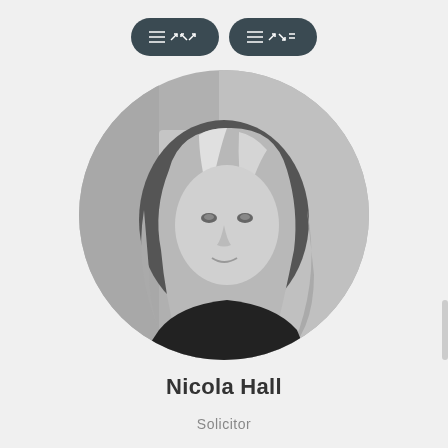[Figure (photo): Black and white circular portrait photo of Nicola Hall, a woman with shoulder-length blonde hair wearing a dark top, shown against a blurred indoor background]
Nicola Hall
Solicitor